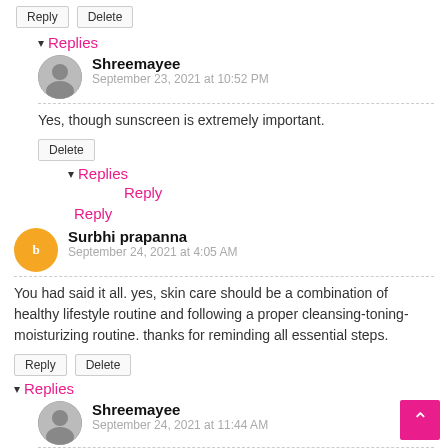Reply | Delete
▾ Replies
Shreemayee
September 23, 2021 at 10:52 PM
Yes, though sunscreen is extremely important.
Delete
▾ Replies
Reply
Reply
Surbhi prapanna
September 24, 2021 at 4:05 AM
You had said it all. yes, skin care should be a combination of healthy lifestyle routine and following a proper cleansing-toning-moisturizing routine. thanks for reminding all essential steps.
Reply | Delete
▾ Replies
Shreemayee
September 24, 2021 at 11:44 AM